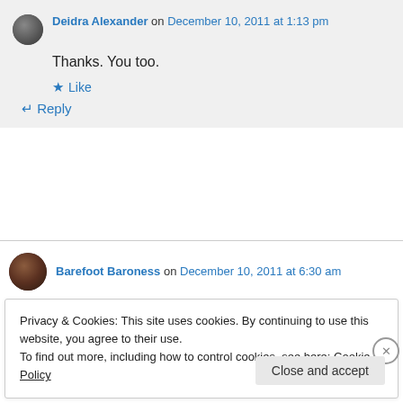Deidra Alexander on December 10, 2011 at 1:13 pm
Thanks. You too.
Like
Reply
Barefoot Baroness on December 10, 2011 at 6:30 am
Privacy & Cookies: This site uses cookies. By continuing to use this website, you agree to their use.
To find out more, including how to control cookies, see here: Cookie Policy
Close and accept